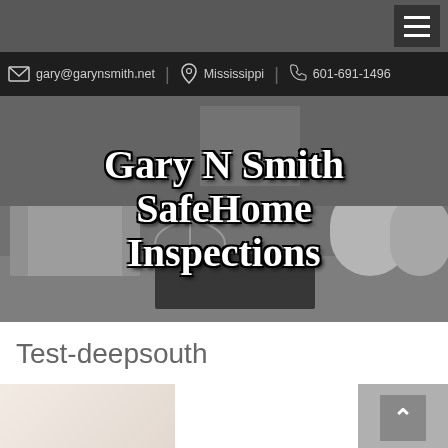Menu button (hamburger icon)
gary@garynsmith.net | Mississippi | 601-691-1496
Gary N Smith SafeHome Inspections
Test-deepsouth
[Figure (photo): Grayscale photo of a modern living room with white chairs, armchairs, and glass side tables]